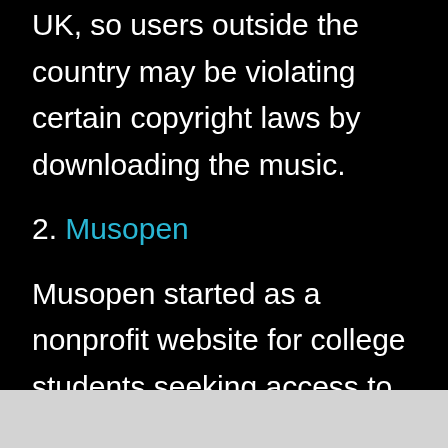UK, so users outside the country may be violating certain copyright laws by downloading the music.
2. Musopen
Musopen started as a nonprofit website for college students seeking access to copyright-free classical music recordings and sheet music. The site gained immense popularity over time and has become a top resource for public domain